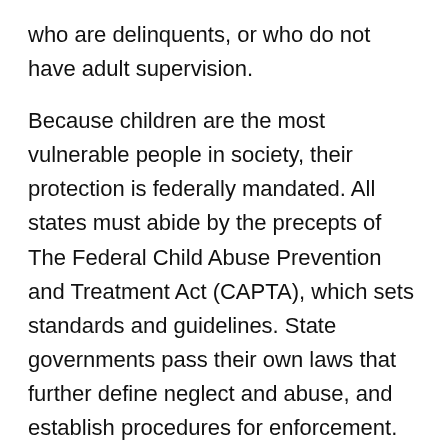who are delinquents, or who do not have adult supervision.
Because children are the most vulnerable people in society, their protection is federally mandated. All states must abide by the precepts of The Federal Child Abuse Prevention and Treatment Act (CAPTA), which sets standards and guidelines. State governments pass their own laws that further define neglect and abuse, and establish procedures for enforcement.
State agencies such as Child Protective Services receive reports alerting them to possible threatening situations. They conduct investigations to determine the degree of endangerment and assess family situations to determine if other methods of support -such as parenting classes or